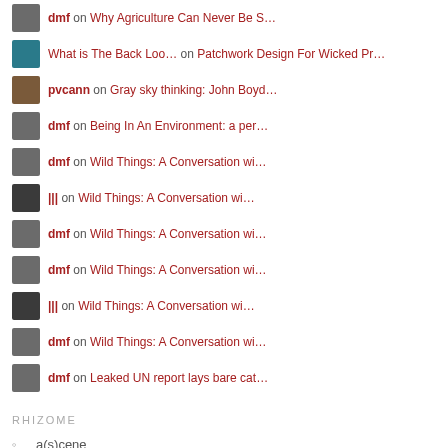dmf on Why Agriculture Can Never Be S…
What is The Back Loo… on Patchwork Design For Wicked Pr…
pvcann on Gray sky thinking: John Boyd…
dmf on Being In An Environment: a per…
dmf on Wild Things: A Conversation wi…
||| on Wild Things: A Conversation wi…
dmf on Wild Things: A Conversation wi…
dmf on Wild Things: A Conversation wi…
||| on Wild Things: A Conversation wi…
dmf on Wild Things: A Conversation wi…
dmf on Leaked UN report lays bare cat…
RHIZOME
a(s)cene
abstract geology
annihilating unity
body of theory
deterritorial investigations unit
enemy industry